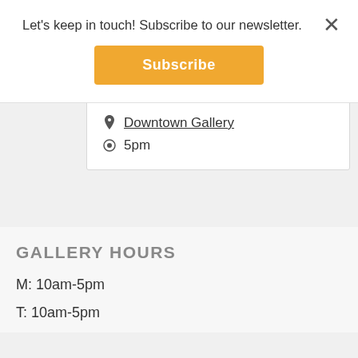Let's keep in touch! Subscribe to our newsletter.
Subscribe
students. Exhibitors are: Ruchi SIngh, Kaitlyn Anderson, Hannah Langer,...
Downtown Gallery
5pm
GALLERY HOURS
M: 10am-5pm
T: 10am-5pm